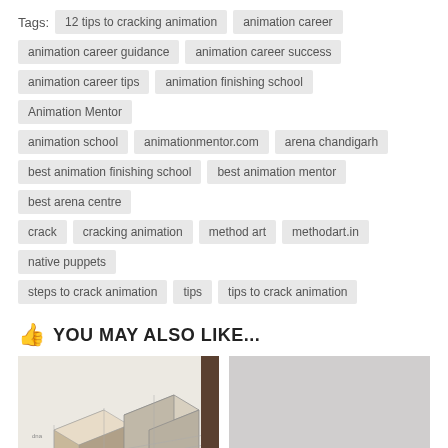Tags:  12 tips to cracking animation  animation career  animation career guidance  animation career success  animation career tips  animation finishing school  Animation Mentor  animation school  animationmentor.com  arena chandigarh  best animation finishing school  best animation mentor  best arena centre  crack  cracking animation  method art  methodart.in  native puppets  steps to crack animation  tips  tips to crack animation
YOU MAY ALSO LIKE...
[Figure (photo): 3D rendering of cubes/boxes on a surface, animation-related educational image]
3D Printing is the biggest wave that's going to hit us
[Figure (photo): Gray placeholder image for Arena Multimedia Fresher's Party 2005]
Arena Multimedia Fresher's Party 2005